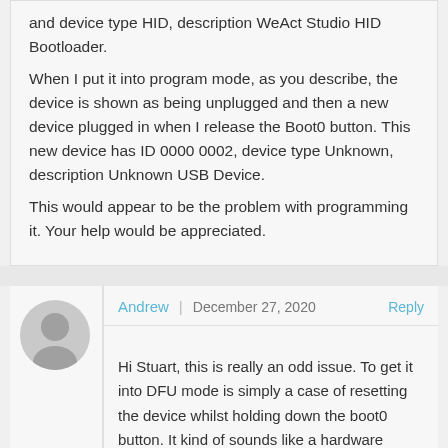...identified as 0000 16 0483 0129 when plugged in and device type HID, description WeAct Studio HID Bootloader. When I put it into program mode, as you describe, the device is shown as being unplugged and then a new device plugged in when I release the Boot0 button. This new device has ID 0000 0002, device type Unknown, description Unknown USB Device. This would appear to be the problem with programming it. Your help would be appreciated.
Andrew | December 27, 2020 | Reply
Hi Stuart, this is really an odd issue. To get it into DFU mode is simply a case of resetting the device whilst holding down the boot0 button. It kind of sounds like a hardware problem except for the fact